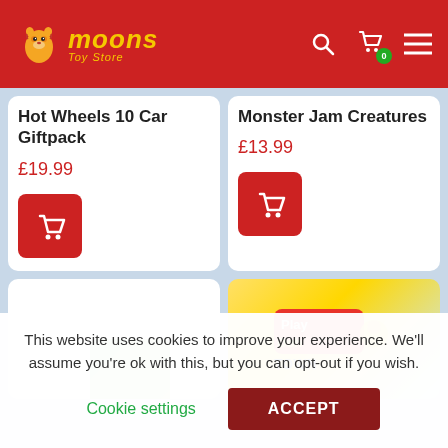Moons Toy Store
Hot Wheels 10 Car Giftpack
£19.99
Monster Jam Creatures
£13.99
[Figure (screenshot): Play-Doh Town product image partially visible in bottom right card]
This website uses cookies to improve your experience. We'll assume you're ok with this, but you can opt-out if you wish.
Cookie settings
ACCEPT